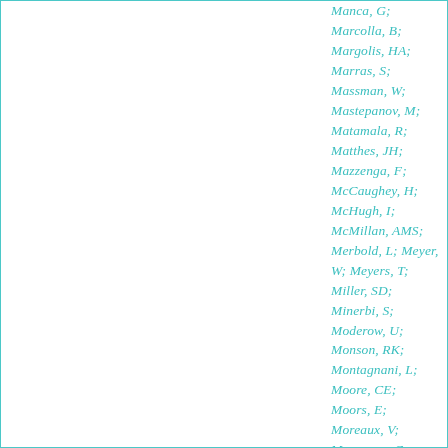Manca, G; Marcolla, B; Margolis, HA; Marras, S; Massman, W; Mastepanov, M; Matamala, R; Matthes, JH; Mazzenga, F; McCaughey, H; McHugh, I; McMillan, AMS; Merbold, L; Meyer, W; Meyers, T; Miller, SD; Minerbi, S; Moderow, U; Monson, RK; Montagnani, L; Moore, CE; Moors, E; Moreaux, V; Moureaux, C; Munger, JW; Nakai, T; Neirynck, J; Nesic, Z; Nicolini, G;